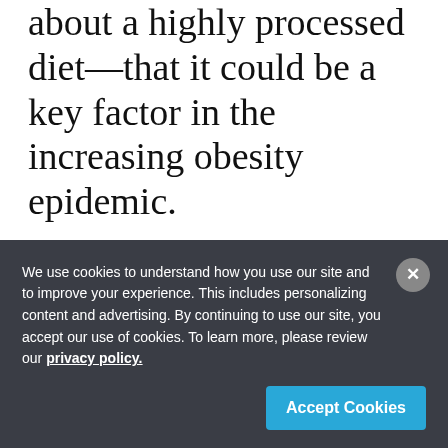about a highly processed diet—that it could be a key factor in the increasing obesity epidemic.
Another interesting outcome of this study is the effect of ultra-processed foods on appetite. This
We use cookies to understand how you use our site and to improve your experience. This includes personalizing content and advertising. By continuing to use our site, you accept our use of cookies. To learn more, please review our privacy policy.